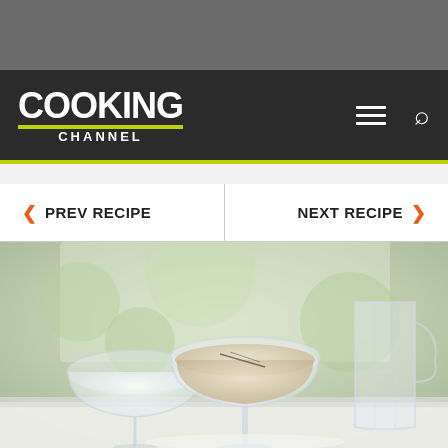[Figure (screenshot): Top gray bar area of a webpage]
COOKING CHANNEL
PREV RECIPE   NEXT RECIPE
[Figure (photo): Photo of cocktail drinks in stemmed coupe glasses with a pitcher on the right, blurred green background, light and airy setting]